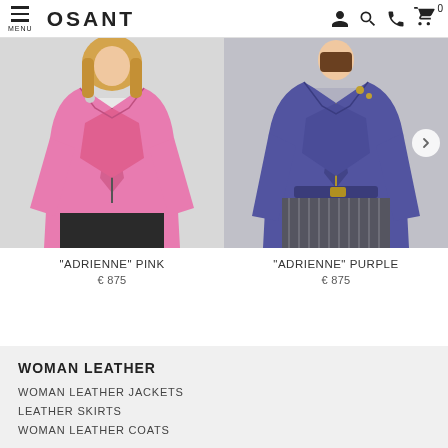OSANT — MENU with hamburger icon, icons: user, search, phone, cart (0)
[Figure (photo): Woman wearing a pink leather biker jacket, cropped view showing torso]
[Figure (photo): Woman wearing a purple leather biker jacket with gold hardware and belt, cropped view showing torso]
"ADRIENNE" PINK
€ 875
"ADRIENNE" PURPLE
€ 875
WOMAN LEATHER
WOMAN LEATHER JACKETS
LEATHER SKIRTS
WOMAN LEATHER COATS